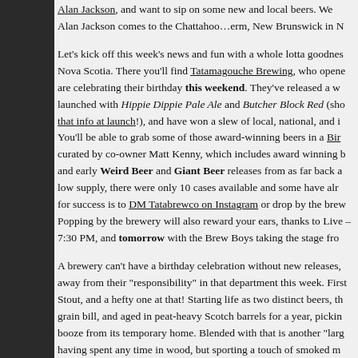Alan Jackson, and want to sip on some new and local beers. We Alan Jackson comes to the Chattahoo…erm, New Brunswick in N
Let's kick off this week's news and fun with a whole lotta goodness Nova Scotia. There you'll find Tatamagouche Brewing, who opene are celebrating their birthday this weekend. They've released a w launched with Hippie Dippie Pale Ale and Butcher Block Red (sho that info at launch!), and have won a slew of local, national, and i You'll be able to grab some of those award-winning beers in a Bir curated by co-owner Matt Kenny, which includes award winning b and early Weird Beer and Giant Beer releases from as far back a low supply, there were only 10 cases available and some have alr for success is to DM Tatabrewco on Instagram or drop by the brew Popping by the brewery will also reward your ears, thanks to Live – 7:30 PM, and tomorrow with the Brew Boys taking the stage fro
A brewery can't have a birthday celebration without new releases, away from their "responsibility" in that department this week. First Stout, and a hefty one at that! Starting life as two distinct beers, th grain bill, and aged in peat-heavy Scotch barrels for a year, pickin booze from its temporary home. Blended with that is another "larg having spent any time in wood, but sporting a touch of smoked m